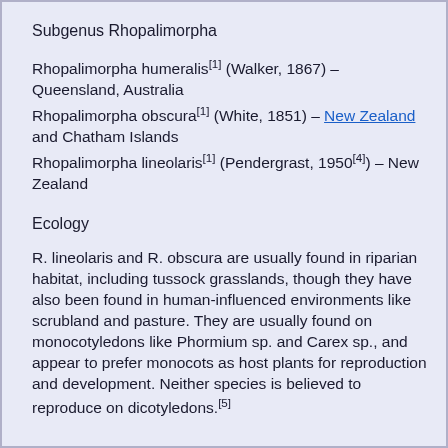Subgenus Rhopalimorpha
Rhopalimorpha humeralis[1] (Walker, 1867) – Queensland, Australia
Rhopalimorpha obscura[1] (White, 1851) – New Zealand and Chatham Islands
Rhopalimorpha lineolaris[1] (Pendergrast, 1950[4]) – New Zealand
Ecology
R. lineolaris and R. obscura are usually found in riparian habitat, including tussock grasslands, though they have also been found in human-influenced environments like scrubland and pasture. They are usually found on monocotyledons like Phormium sp. and Carex sp., and appear to prefer monocots as host plants for reproduction and development. Neither species is believed to reproduce on dicotyledons.[5]